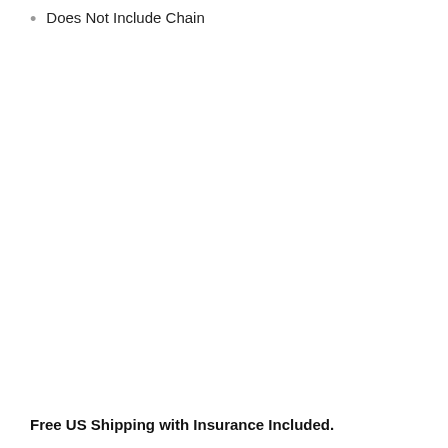Does Not Include Chain
Free US Shipping with Insurance Included.